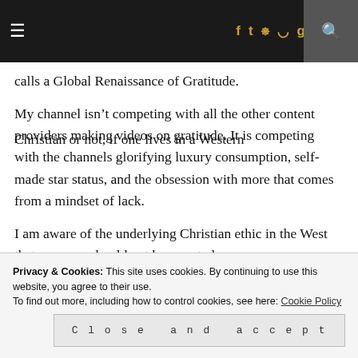≡  f  t  📷  p  g+  RSS  in  🔍
calls a Global Renaissance of Gratitude.
My channel isn't competing with all the other content providers making videos on gratitude. It is competing with the channels glorifying luxury consumption, self-made star status, and the obsession with more that comes from a mindset of lack.
I am aware of the underlying Christian ethic in the West that says one should not be seen to be
Privacy & Cookies: This site uses cookies. By continuing to use this website, you agree to their use.
To find out more, including how to control cookies, see here: Cookie Policy
Close and accept
Christian or not, if one lives in a Western